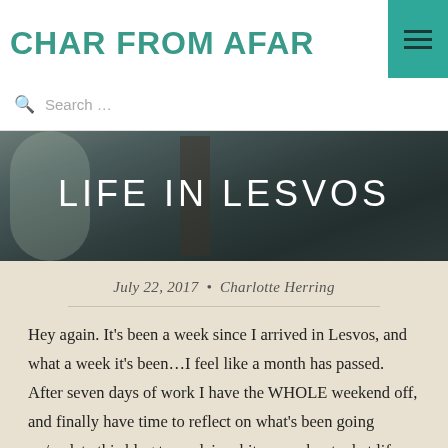CHAR FROM AFAR
Search …
[Figure (photo): Hero photo of people with text overlay 'LIFE IN LESVOS']
LIFE IN LESVOS
July 22, 2017 • Charlotte Herring
Hey again. It's been a week since I arrived in Lesvos, and what a week it's been...I feel like a month has passed. After seven days of work I have the WHOLE weekend off, and finally have time to reflect on what's been going on/update this blog to explain a bit more about what life here is like.